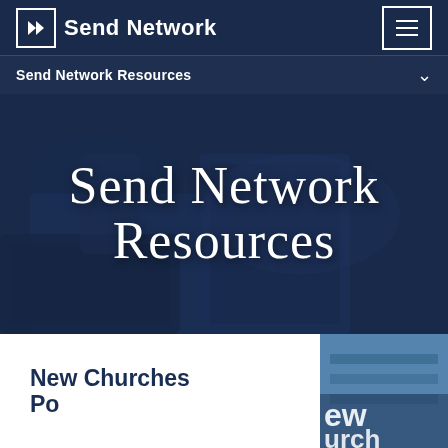Send Network
Send Network Resources
Send Network Resources
New Churches Podcast